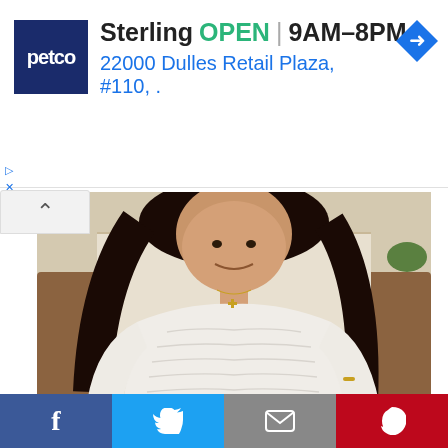[Figure (screenshot): Petco advertisement banner showing Sterling location, OPEN status, hours 9AM-8PM, address 22000 Dulles Retail Plaza #110, with Petco logo and navigation arrow icon]
[Figure (photo): Photo of Jacklyn Cazares, a young girl wearing a white lace dress with a gold cross necklace, with long dark hair, smiling, seated in front of a decorated background]
Jacklyn Cazares.Jacinto Cazares / via Facebook
Jacklyn Cazares, also 10, died in the shooting, according to her father, Javier Cazares.
[Figure (screenshot): Social media sharing toolbar with Facebook, Twitter, Email, and Pinterest buttons]